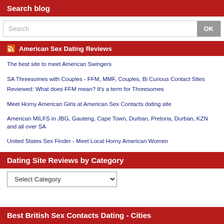Search blog
Search
American Sex Dating Reviews
The best site to meet American Swingers
SA Threesomes with Couples - FFM, MMF, Couples, Bi Curious Contact Sites
Reviewed: What does FFM mean? It's a term for Threesomes
Meet Horny American Girls at American Sex Contacts dating site
American MILFS in JBG, Gauteng, Cape Town, Durban, Pretoria, Durban, KZN and all over SA
United States Sex Finder - Meet Local Horny American Women
Dating Site Reviews by Category
Select Category
Best British Sex Contacts Dating - Cities